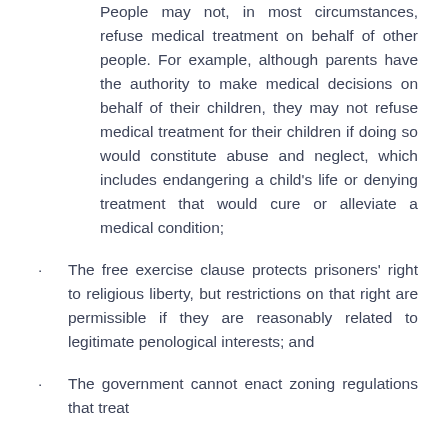People may not, in most circumstances, refuse medical treatment on behalf of other people. For example, although parents have the authority to make medical decisions on behalf of their children, they may not refuse medical treatment for their children if doing so would constitute abuse and neglect, which includes endangering a child's life or denying treatment that would cure or alleviate a medical condition;
The free exercise clause protects prisoners' right to religious liberty, but restrictions on that right are permissible if they are reasonably related to legitimate penological interests; and
The government cannot enact zoning regulations that treat